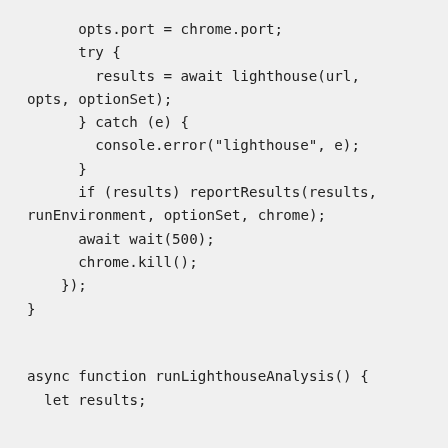opts.port = chrome.port;
        try {
          results = await lighthouse(url,
  opts, optionSet);
        } catch (e) {
          console.error("lighthouse", e);
        }
        if (results) reportResults(results,
  runEnvironment, optionSet, chrome);
        await wait(500);
        chrome.kill();
      });
  }


  async function runLighthouseAnalysis() {
    let results;